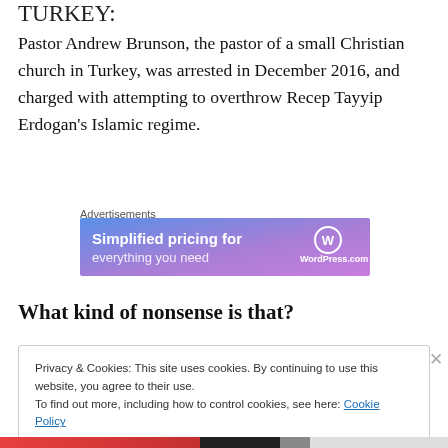TURKEY:
Pastor Andrew Brunson, the pastor of a small Christian church in Turkey, was arrested in December 2016, and charged with attempting to overthrow Recep Tayyip Erdogan's Islamic regime.
[Figure (other): WordPress.com advertisement banner with gradient blue-purple background showing 'Simplified pricing for' text and WordPress.com logo]
What kind of nonsense is that?
Privacy & Cookies: This site uses cookies. By continuing to use this website, you agree to their use.
To find out more, including how to control cookies, see here: Cookie Policy
Close and accept